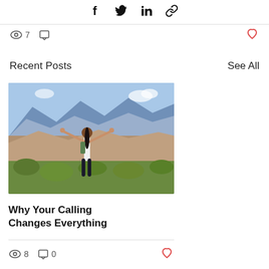[Figure (infographic): Social media share icons: Facebook, Twitter, LinkedIn, and a link/chain icon]
7 views, 0 comments, heart/like button
Recent Posts
See All
[Figure (photo): A woman with arms outstretched standing in a desert/mountain landscape with blue mountains in the background and green shrubs in the foreground]
Why Your Calling Changes Everything
8 views, 0 comments, heart/like button